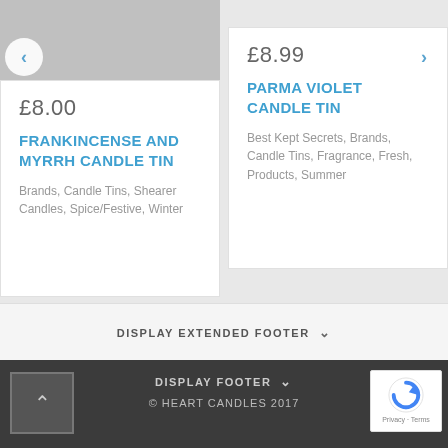[Figure (photo): Product image area for Frankincense and Myrrh Candle Tin, grey/silver cropped top portion]
£8.00
FRANKINCENSE AND MYRRH CANDLE TIN
Brands, Candle Tins, Shearer Candles, Spice/Festive, Winter
£8.99
PARMA VIOLET CANDLE TIN
Best Kept Secrets, Brands, Candle Tins, Fragrance, Fresh, Products, Summer
DISPLAY EXTENDED FOOTER ∨
DISPLAY FOOTER ∨
© HEART CANDLES 2017